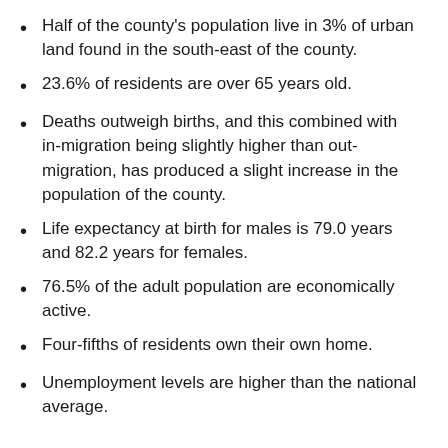Half of the county's population live in 3% of urban land found in the south-east of the county.
23.6% of residents are over 65 years old.
Deaths outweigh births, and this combined with in-migration being slightly higher than out-migration, has produced a slight increase in the population of the county.
Life expectancy at birth for males is 79.0 years and 82.2 years for females.
76.5% of the adult population are economically active.
Four-fifths of residents own their own home.
Unemployment levels are higher than the national average.